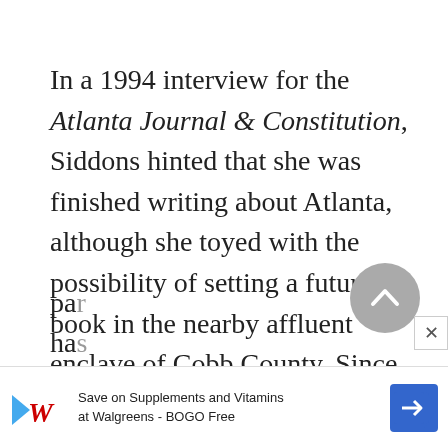In a 1994 interview for the Atlanta Journal & Constitution, Siddons hinted that she was finished writing about Atlanta, although she toyed with the possibility of setting a future book in the nearby affluent enclave of Cobb County. Since then she has shown little inclination to cut her ties to the South, and—with hard-cover and pa... ha...
[Figure (other): Gray circular scroll-up button with chevron arrow, and a close (×) button overlay]
[Figure (other): Advertisement bar: Walgreens logo with play button, text 'Save on Supplements and Vitamins at Walgreens - BOGO Free', blue direction sign icon]